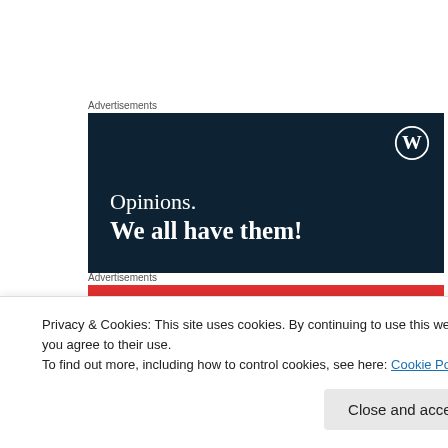Advertisements
[Figure (illustration): Dark navy blue advertisement banner with WordPress logo (W in circle) in top right. White serif text reads 'Opinions.' on first line and 'We all have them!' in bold on second line.]
Advertisements
[Figure (illustration): Red advertisement banner with white bold serif text reading 'An app by' partially visible.]
Privacy & Cookies: This site uses cookies. By continuing to use this website, you agree to their use.
To find out more, including how to control cookies, see here: Cookie Policy
Close and accept